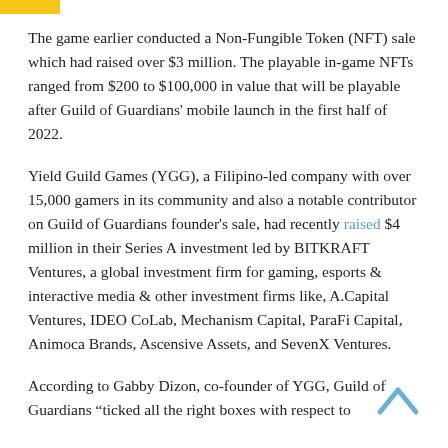The game earlier conducted a Non-Fungible Token (NFT) sale which had raised over $3 million. The playable in-game NFTs ranged from $200 to $100,000 in value that will be playable after Guild of Guardians' mobile launch in the first half of 2022.
Yield Guild Games (YGG), a Filipino-led company with over 15,000 gamers in its community and also a notable contributor on Guild of Guardians founder's sale, had recently raised $4 million in their Series A investment led by BITKRAFT Ventures, a global investment firm for gaming, esports & interactive media & other investment firms like, A.Capital Ventures, IDEO CoLab, Mechanism Capital, ParaFi Capital, Animoca Brands, Ascensive Assets, and SevenX Ventures.
According to Gabby Dizon, co-founder of YGG, Guild of Guardians "ticked all the right boxes with respect to